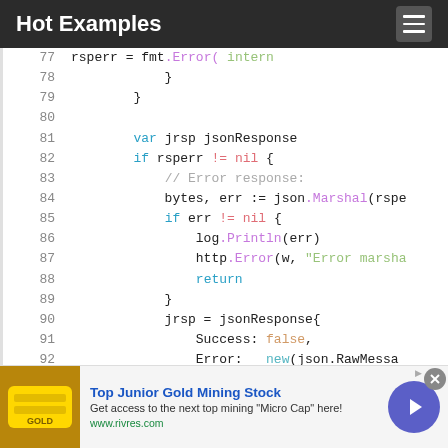Hot Examples
[Figure (screenshot): Code editor showing Go source code lines 77-92 with syntax highlighting. Lines show variable declarations, error handling with if statements, JSON marshaling, http.Error calls, and jsonResponse struct construction.]
Top Junior Gold Mining Stock — Get access to the next top mining "Micro Cap" here! www.rivres.com